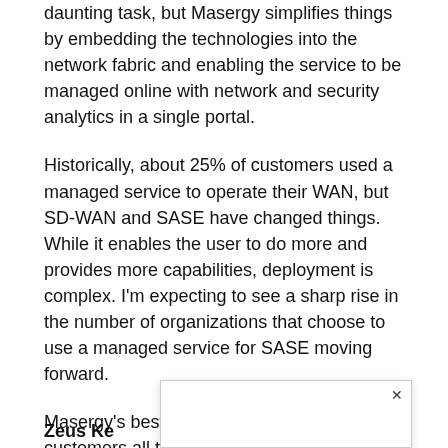daunting task, but Masergy simplifies things by embedding the technologies into the network fabric and enabling the service to be managed online with network and security analytics in a single portal.
Historically, about 25% of customers used a managed service to operate their WAN, but SD-WAN and SASE have changed things. While it enables the user to do more and provides more capabilities, deployment is complex. I'm expecting to see a sharp rise in the number of organizations that choose to use a managed service for SASE moving forward.
Masergy's best-of-breed approach gives its customers all the benefits of market-leading vendors without the associated complexity of trying to stitch things together themselves.
Zeus Ke [popup overlay visible] ne